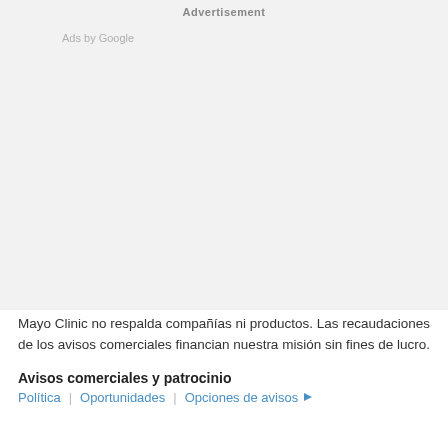Advertisement
Ads by Google
Mayo Clinic no respalda compañías ni productos. Las recaudaciones de los avisos comerciales financian nuestra misión sin fines de lucro.
Avisos comerciales y patrocinio
Política | Oportunidades | Opciones de avisos